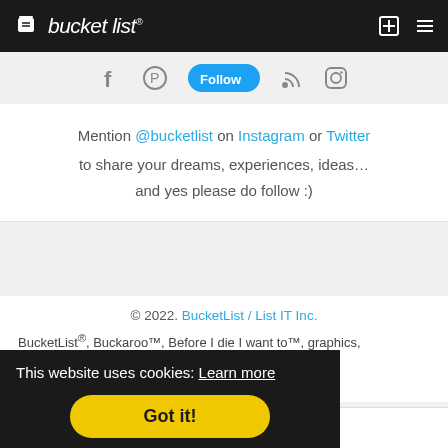bucket list
[Figure (screenshot): Social media icons row: Facebook, Pinterest, Twitter (highlighted blue), RSS, Instagram]
Mention @bucketlist on Instagram or Twitter to share your dreams, experiences, ideas… and yes please do follow :)
© 2022. BucketList / List IT Inc.
BucketList®, Buckaroo™, Before I die I want to™, graphics, …names are the … Inc.
This website uses cookies: Learn more
Got it!
f  twitter  email  +